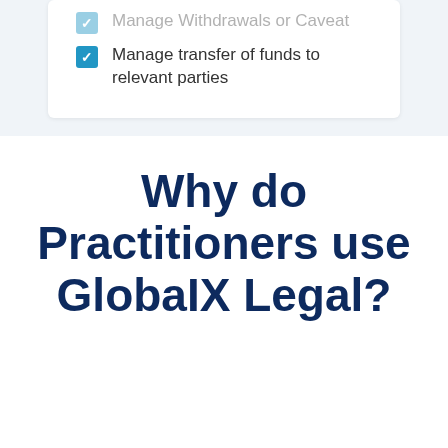Manage Withdrawals or Caveat
Manage transfer of funds to relevant parties
Why do Practitioners use GlobaIX Legal?